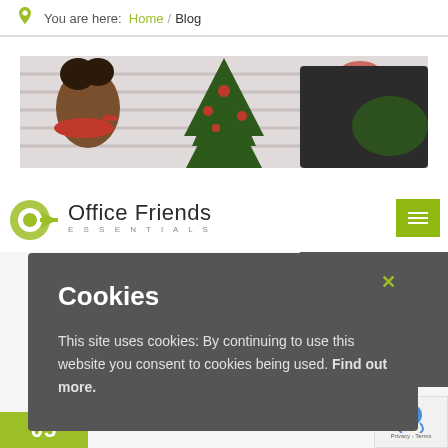You are here: Home / Blog
[Figure (photo): Hero banner photo showing people decorating a Christmas tree with red ornaments and pine branches against a white brick wall background]
[Figure (logo): Office Friends Essentials logo with green circular arrow mark and company name]
[Figure (screenshot): Cookie consent popup overlay on dark gray background reading: Cookies - This site uses cookies: By continuing to use this website you consent to cookies being used. Find out more.]
05